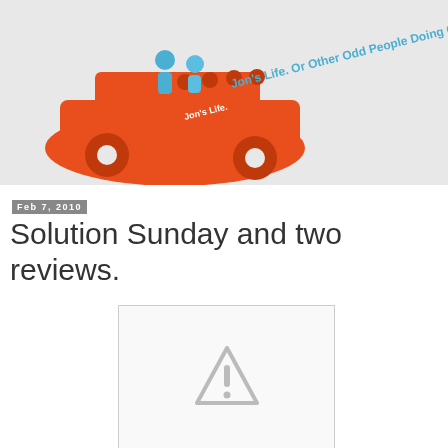[Figure (illustration): Blog header banner with light gray background. Features an orange car illustration with blue peg-people figures on top. Text reads 'Jon's Life. Or Other Odd People Doing Odd Things.' in blue text at a diagonal angle.]
Feb 7, 2010
Solution Sunday and two reviews.
[Figure (other): Broken image placeholder box with gray border showing a warning triangle with exclamation mark icon in gray.]